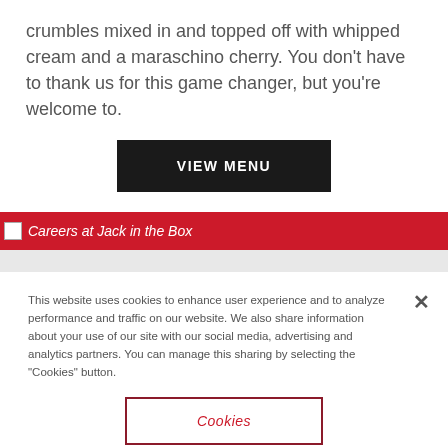crumbles mixed in and topped off with whipped cream and a maraschino cherry. You don't have to thank us for this game changer, but you're welcome to.
[Figure (other): Black rectangular button with white uppercase text reading 'VIEW MENU']
[Figure (other): Red banner with broken image icon and italic text 'Careers at Jack in the Box']
This website uses cookies to enhance user experience and to analyze performance and traffic on our website. We also share information about your use of our site with our social media, advertising and analytics partners. You can manage this sharing by selecting the "Cookies" button.
[Figure (other): White button with dark red border and red italic text reading 'Cookies']